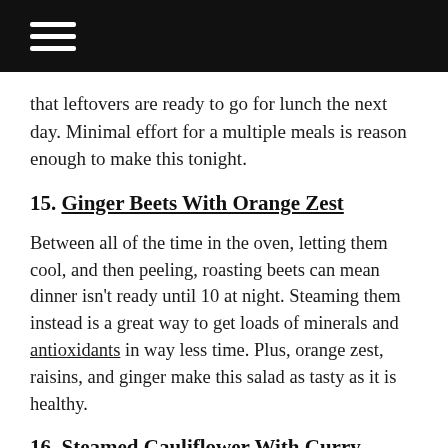[hamburger menu icon]
that leftovers are ready to go for lunch the next day. Minimal effort for a multiple meals is reason enough to make this tonight.
15. Ginger Beets With Orange Zest
Between all of the time in the oven, letting them cool, and then peeling, roasting beets can mean dinner isn't ready until 10 at night. Steaming them instead is a great way to get loads of minerals and antioxidants in way less time. Plus, orange zest, raisins, and ginger make this salad as tasty as it is healthy.
16. Steamed Cauliflower With Curry Butter and Toasted Almonds